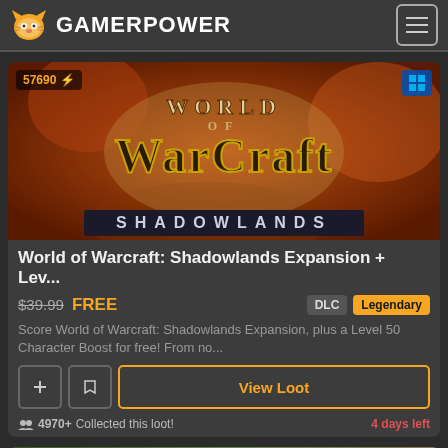GAMERPOWER
[Figure (screenshot): World of Warcraft: Shadowlands game banner with fiery orange background and WoW Shadowlands logo text]
World of Warcraft: Shadowlands Expansion + Lev...
$39.99 FREE | DLC | Legendary
Score World of Warcraft: Shadowlands Expansion, plus a Level 50 Character Boost for free! From no...
View Loot
4970+ Collected this loot!
4 days left
[Figure (screenshot): Partial game banner preview showing forest/wildlife scene, labeled 12905 with lightning bolt icon]